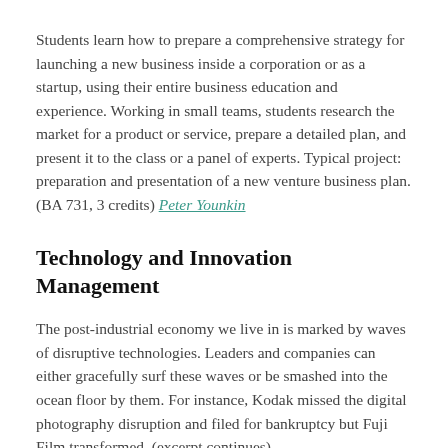Students learn how to prepare a comprehensive strategy for launching a new business inside a corporation or as a startup, using their entire business education and experience. Working in small teams, students research the market for a product or service, prepare a detailed plan, and present it to the class or a panel of experts. Typical project: preparation and presentation of a new venture business plan.
(BA 731, 3 credits) Peter Younkin
Technology and Innovation Management
The post-industrial economy we live in is marked by waves of disruptive technologies. Leaders and companies can either gracefully surf these waves or be smashed into the ocean floor by them. For instance, Kodak missed the digital photography disruption and filed for bankruptcy but Fuji Film transformed. (excerpt continues)